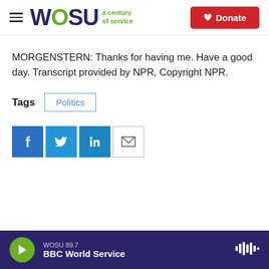[Figure (logo): WOSU 'a century of service' logo with hamburger menu and Donate button]
MORGENSTERN: Thanks for having me. Have a good day. Transcript provided by NPR, Copyright NPR.
Tags  Politics
[Figure (infographic): Social sharing buttons: Facebook, Twitter, LinkedIn, Email]
WOSU 89.7  BBC World Service